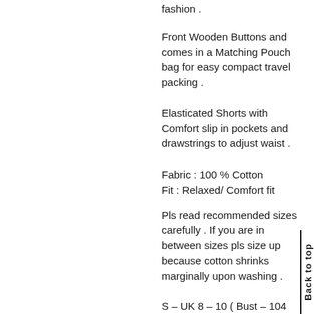fashion .
Front Wooden Buttons and comes in a Matching Pouch bag for easy compact travel packing .
Elasticated Shorts with Comfort slip in pockets and drawstrings to adjust waist .
Fabric : 100 % Cotton
Fit : Relaxed/ Comfort fit
Pls read recommended sizes carefully . If you are in between sizes pls size up because cotton shrinks marginally upon washing .
S – UK 8 – 10 ( Bust – 104 cm , Waist 71 cm , Hip 104 cm , Sleeve Length 30 cm ) M – UK 12- 14 ( Bust – 112 cm , Waist 76 cm , Hip 110 cm , Sleeve Length 30 cm )
Back to top